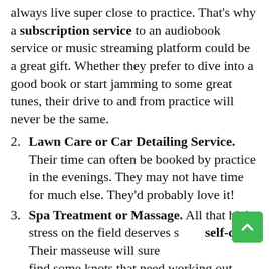always live super close to practice. That's why a subscription service to an audiobook service or music streaming platform could be a great gift. Whether they prefer to dive into a good book or start jamming to some great tunes, their drive to and from practice will never be the same.
2. Lawn Care or Car Detailing Service. Their time can often be booked by practice in the evenings. They may not have time for much else. They'd probably love it!
3. Spa Treatment or Massage. All that high-stress on the field deserves some self-care! Their masseuse will surely find some knots that need working out